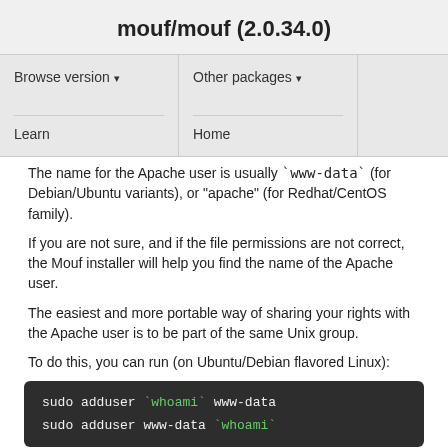mouf/mouf (2.0.34.0)
Browse version ▾
Other packages ▾
Learn
Home
The name for the Apache user is usually `www-data` (for Debian/Ubuntu variants), or "apache" (for Redhat/CentOS family).
If you are not sure, and if the file permissions are not correct, the Mouf installer will help you find the name of the Apache user.
The easiest and more portable way of sharing your rights with the Apache user is to be part of the same Unix group.
To do this, you can run (on Ubuntu/Debian flavored Linux):
[Figure (screenshot): Code block showing two terminal commands: 'sudo adduser `whoami` www-data' and 'sudo adduser www-data `whoami`' on a dark background]